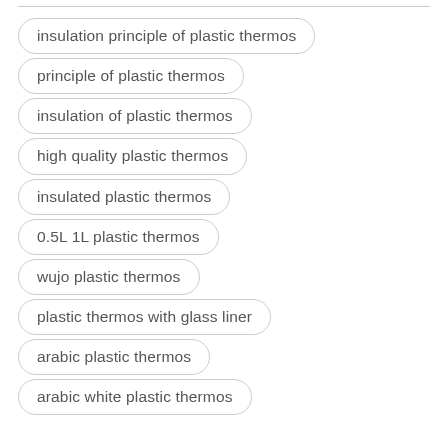insulation principle of plastic thermos
principle of plastic thermos
insulation of plastic thermos
high quality plastic thermos
insulated plastic thermos
0.5L 1L plastic thermos
wujo plastic thermos
plastic thermos with glass liner
arabic plastic thermos
arabic white plastic thermos